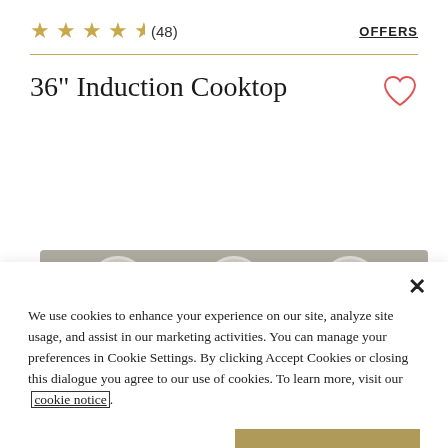[Figure (illustration): Star rating: 4.5 out of 5 stars (48 reviews) with OFFERS link]
36" Induction Cooktop
[Figure (illustration): Partial view of induction cooktop showing circular burner elements on gray surface]
We use cookies to enhance your experience on our site, analyze site usage, and assist in our marketing activities. You can manage your preferences in Cookie Settings. By clicking Accept Cookies or closing this dialogue you agree to our use of cookies. To learn more, visit our cookie notice.
COOKIE SETTINGS
ACCEPT COOKIES